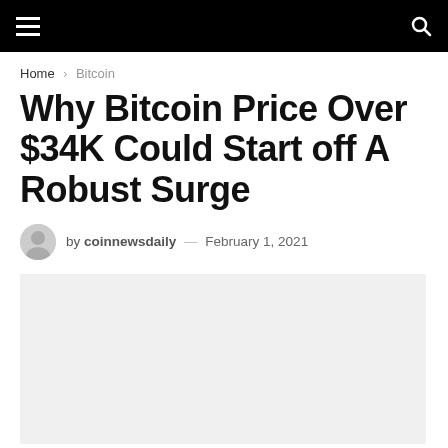Navigation bar with hamburger menu and search icon
Home › Bitcoin
Why Bitcoin Price Over $34K Could Start off A Robust Surge
by coinnewsdaily — February 1, 2021
[Figure (photo): Article featured image placeholder, light gray background]